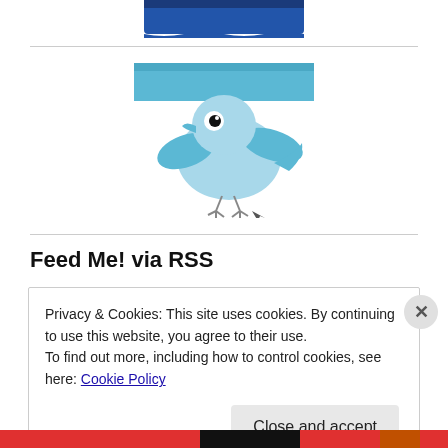[Figure (illustration): Partial view of a blue badge/logo at the top of the page, cropped]
[Figure (illustration): Twitter bird illustration with light blue background header block, cartoon style blue bird with black eye and spread wings, standing on a twig]
Feed Me! via RSS
Privacy & Cookies: This site uses cookies. By continuing to use this website, you agree to their use.
To find out more, including how to control cookies, see here: Cookie Policy
Close and accept